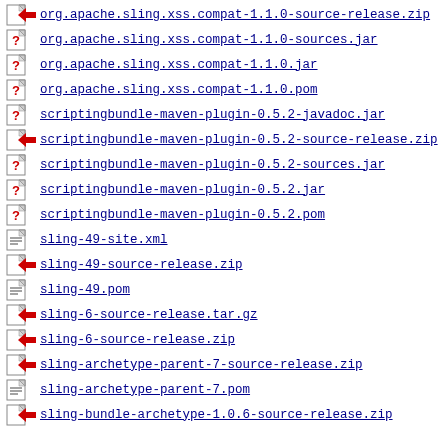org.apache.sling.xss.compat-1.1.0-source-release.zip
org.apache.sling.xss.compat-1.1.0-sources.jar
org.apache.sling.xss.compat-1.1.0.jar
org.apache.sling.xss.compat-1.1.0.pom
scriptingbundle-maven-plugin-0.5.2-javadoc.jar
scriptingbundle-maven-plugin-0.5.2-source-release.zip
scriptingbundle-maven-plugin-0.5.2-sources.jar
scriptingbundle-maven-plugin-0.5.2.jar
scriptingbundle-maven-plugin-0.5.2.pom
sling-49-site.xml
sling-49-source-release.zip
sling-49.pom
sling-6-source-release.tar.gz
sling-6-source-release.zip
sling-archetype-parent-7-source-release.zip
sling-archetype-parent-7.pom
sling-bundle-archetype-1.0.6-source-release.zip